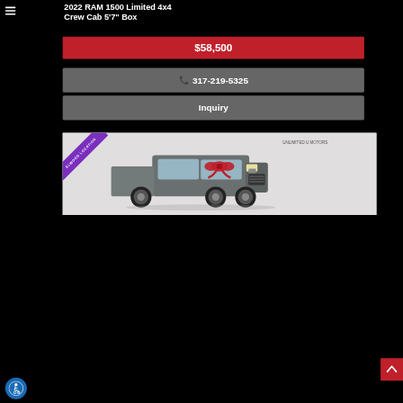2022 RAM 1500 Limited 4x4 Crew Cab 5'7" Box
$58,500
317-219-5325
Inquiry
[Figure (photo): Gray 2022 RAM 1500 Limited 4x4 pickup truck with a red bow on the hood, shown at Elwood Location dealership. A purple diagonal ribbon banner reads 'ELWOOD LOCATION'.]